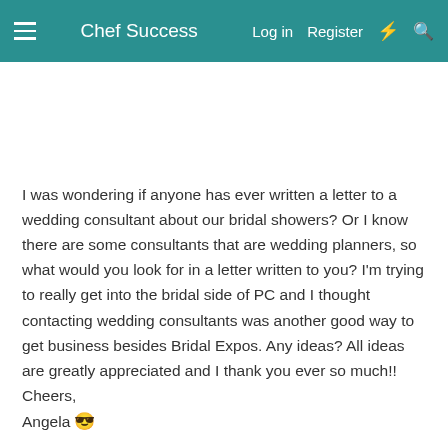Chef Success   Log in   Register
I was wondering if anyone has ever written a letter to a wedding consultant about our bridal showers? Or I know there are some consultants that are wedding planners, so what would you look for in a letter written to you? I'm trying to really get into the bridal side of PC and I thought contacting wedding consultants was another good way to get business besides Bridal Expos. Any ideas? All ideas are greatly appreciated and I thank you ever so much!! Cheers, Angela 😎